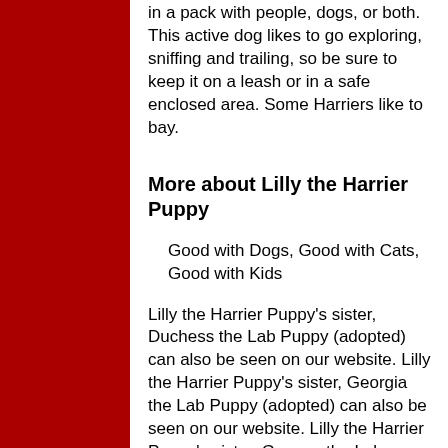in a pack with people, dogs, or both. This active dog likes to go exploring, sniffing and trailing, so be sure to keep it on a leash or in a safe enclosed area. Some Harriers like to bay.
More about Lilly the Harrier Puppy
Good with Dogs, Good with Cats, Good with Kids
Lilly the Harrier Puppy's sister, Duchess the Lab Puppy (adopted) can also be seen on our website. Lilly the Harrier Puppy's sister, Georgia the Lab Puppy (adopted) can also be seen on our website. Lilly the Harrier Puppy's sister, Geneva the Lab Puppy (adopted) can also be
[Figure (other): Red vertical bar on the left side of the page]